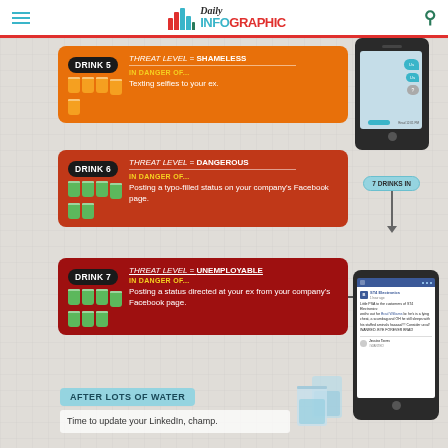[Figure (logo): Daily Infographic website logo with bar chart icon]
[Figure (infographic): Infographic about drunk texting/social media dangers. Drink 5: Threat Level = SHAMELESS, In Danger Of: Texting selfies to your ex. Drink 6: Threat Level = DANGEROUS, In Danger Of: Posting a typo-filled status on your company's Facebook page. Drink 7: Threat Level = UNEMPLOYABLE, In Danger Of: Posting a status directed at your ex from your company's Facebook page. After Lots of Water: Time to update your LinkedIn, champ.]